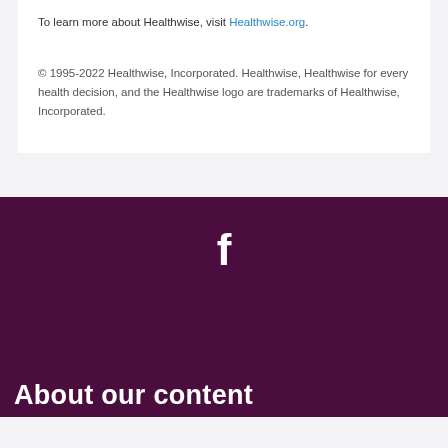To learn more about Healthwise, visit Healthwise.org.
© 1995-2022 Healthwise, Incorporated. Healthwise, Healthwise for every health decision, and the Healthwise logo are trademarks of Healthwise, Incorporated.
[Figure (logo): White Facebook 'f' logo icon on dark purple background]
About our content